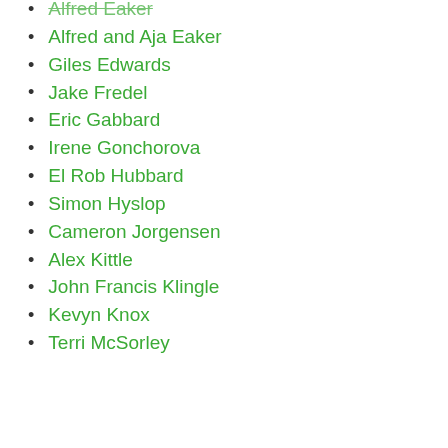Alfred Eaker
Alfred and Aja Eaker
Giles Edwards
Jake Fredel
Eric Gabbard
Irene Gonchorova
El Rob Hubbard
Simon Hyslop
Cameron Jorgensen
Alex Kittle
John Francis Klingle
Kevyn Knox
Terri McSorley